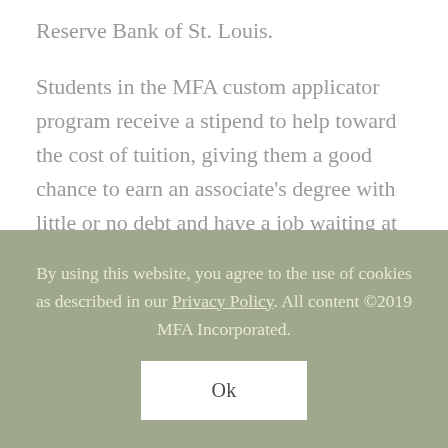Reserve Bank of St. Louis.
Students in the MFA custom applicator program receive a stipend to help toward the cost of tuition, giving them a good chance to earn an associate's degree with little or no debt and have a job waiting at MFA.
By using this website, you agree to the use of cookies as described in our Privacy Policy. All content ©2019 MFA Incorporated.